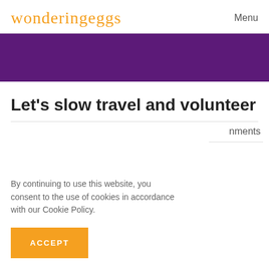wonderingeggs  Menu
[Figure (other): Purple banner bar]
Let’s slow travel and volunteer
By continuing to use this website, you consent to the use of cookies in accordance with our Cookie Policy.
ACCEPT